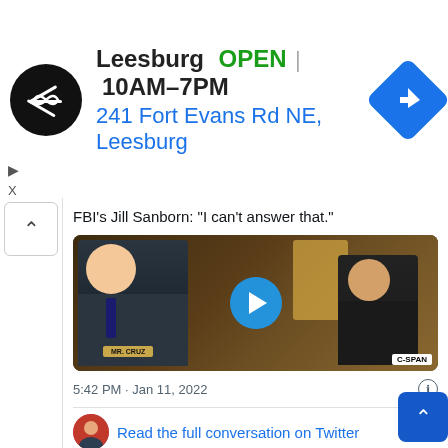[Figure (screenshot): Ad banner for Leesburg store with logo, OPEN status, hours 10AM-7PM, address 241 Fort Evans Rd NE Leesburg, and navigation icon]
FBI's Jill Sanborn: "I can't answer that."
[Figure (screenshot): Video thumbnail of C-SPAN Senate hearing footage with play button overlay showing two men in suits at a hearing table with nameplate MR. CRUZ]
5:42 PM · Jan 11, 2022
Read the full conversation on Twitter
24.5K   Reply   Copy link
Read 2.1K replies